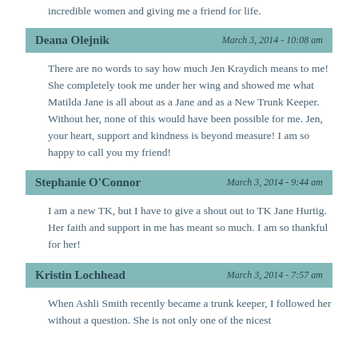incredible women and giving me a friend for life.
Deana Olejnik — March 3, 2014 - 10:08 am
There are no words to say how much Jen Kraydich means to me! She completely took me under her wing and showed me what Matilda Jane is all about as a Jane and as a New Trunk Keeper. Without her, none of this would have been possible for me. Jen, your heart, support and kindness is beyond measure! I am so happy to call you my friend!
Stephanie O'Connor — March 3, 2014 - 9:44 am
I am a new TK, but I have to give a shout out to TK Jane Hurtig. Her faith and support in me has meant so much. I am so thankful for her!
Kristin Lochhead — March 3, 2014 - 7:57 am
When Ashli Smith recently became a trunk keeper, I followed her without a question. She is not only one of the nicest